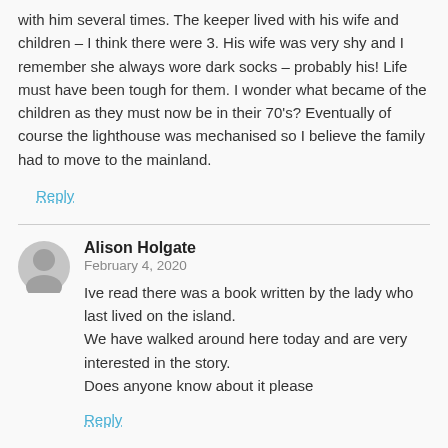with him several times. The keeper lived with his wife and children – I think there were 3. His wife was very shy and I remember she always wore dark socks – probably his! Life must have been tough for them. I wonder what became of the children as they must now be in their 70's? Eventually of course the lighthouse was mechanised so I believe the family had to move to the mainland.
Reply
Alison Holgate
February 4, 2020
Ive read there was a book written by the lady who last lived on the island.
We have walked around here today and are very interested in the story.
Does anyone know about it please
Reply
John R
February 10, 2020
On a Galloway Island by Beryll M Scott,